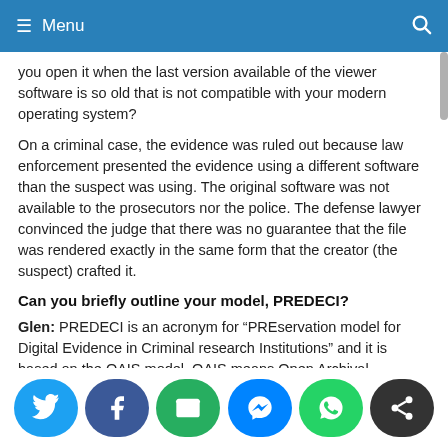Menu
you open it when the last version available of the viewer software is so old that is not compatible with your modern operating system?
On a criminal case, the evidence was ruled out because law enforcement presented the evidence using a different software than the suspect was using. The original software was not available to the prosecutors nor the police. The defense lawyer convinced the judge that there was no guarantee that the file was rendered exactly in the same form that the creator (the suspect) crafted it.
Can you briefly outline your model, PREDECI?
Glen: PREDECI is an acronym for “PREservation model for Digital Evidence in Criminal research Institutions” and it is based on the OAIS model. OAIS means Open Archival Information System, and it is a reference or conceptual